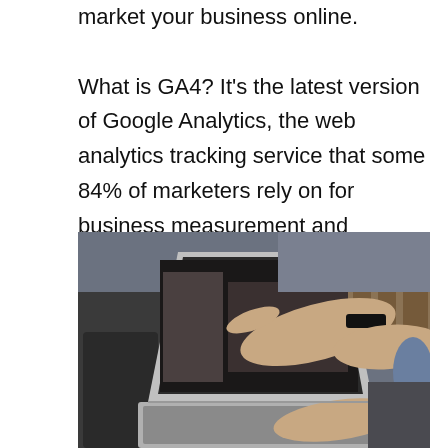it's here, and its going to change the way you market your business online.

What is GA4? It's the latest version of Google Analytics, the web analytics tracking service that some 84% of marketers rely on for business measurement and reporting.
[Figure (photo): A person pointing at a laptop screen with one hand while typing with the other. The person is wearing a black fitness tracker/smartwatch on their wrist. The background shows a blurred office environment.]